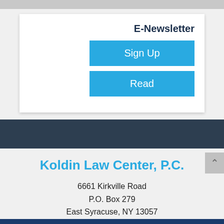E-Newsletter
Sign Up
Read
Koldin Law Center, P.C.
6661 Kirkville Road
P.O. Box 279
East Syracuse, NY 13057
Phone: 315-314-3205
Fax: (315) 463-6512